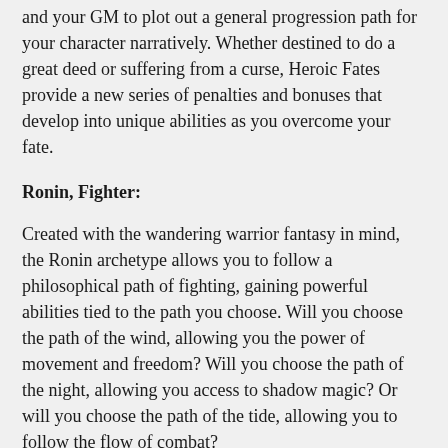and your GM to plot out a general progression path for your character narratively. Whether destined to do a great deed or suffering from a curse, Heroic Fates provide a new series of penalties and bonuses that develop into unique abilities as you overcome your fate.
Ronin, Fighter:
Created with the wandering warrior fantasy in mind, the Ronin archetype allows you to follow a philosophical path of fighting, gaining powerful abilities tied to the path you choose. Will you choose the path of the wind, allowing you the power of movement and freedom? Will you choose the path of the night, allowing you access to shadow magic? Or will you choose the path of the tide, allowing you to follow the flow of combat?
Spellthief, Rogue:
Have you ever wanted to play a Rogue who steals the very spells from their opponent's minds? Have you ever wanted to